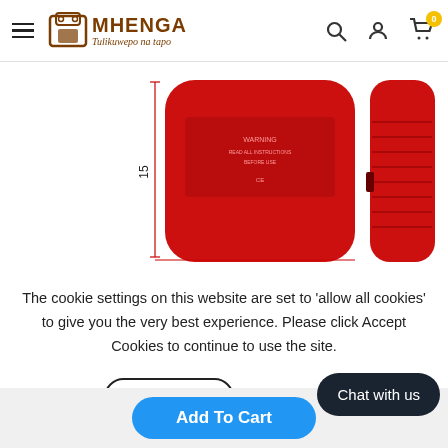Mhenga — Tulikuwepo na tapo | Hamburger menu | Search | User | Cart (0)
[Figure (photo): Two red handheld devices shown from front and side view with a measurement indicator showing '15' on the left side]
The cookie settings on this website are set to 'allow all cookies' to give you the very best experience. Please click Accept Cookies to continue to use the site.
Accept
Privacy Policy
Chat with us
Add To Cart